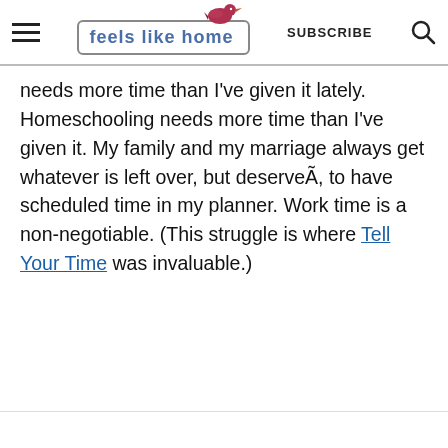feels like home — SUBSCRIBE
needs more time than I've given it lately. Homeschooling needs more time than I've given it. My family and my marriage always get whatever is left over, but deserveÃ, to have scheduled time in my planner. Work time is a non-negotiable. (This struggle is where Tell Your Time was invaluable.)